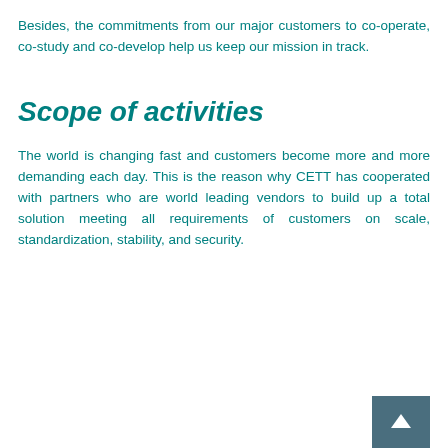Besides, the commitments from our major customers to co-operate, co-study and co-develop help us keep our mission in track.
Scope of activities
The world is changing fast and customers become more and more demanding each day. This is the reason why CETT has cooperated with partners who are world leading vendors to build up a total solution meeting all requirements of customers on scale, standardization, stability, and security.